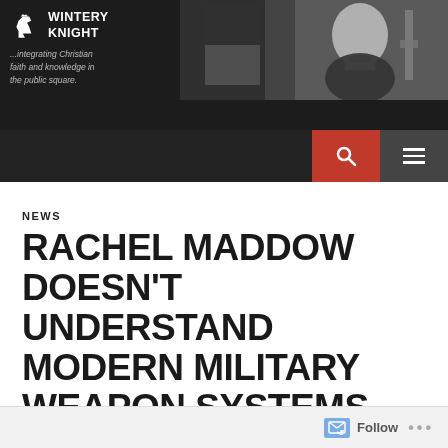WINTERY KNIGHT — ...integrating Christian faith and knowledge in the public square.
NEWS
RACHEL MADDOW DOESN'T UNDERSTAND MODERN MILITARY WEAPON SYSTEMS
01/24/2011  WINTERY KNIGHT  7 COMMENTS